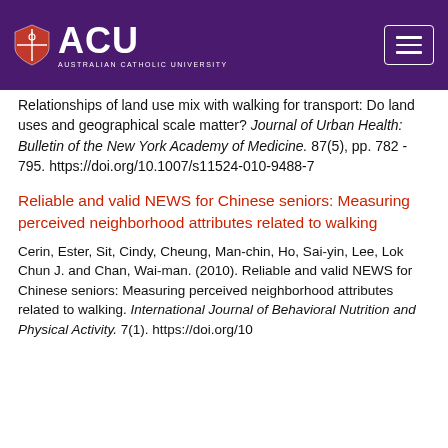[Figure (logo): Australian Catholic University (ACU) logo with shield icon and text, white on purple background, with hamburger menu button on the right]
Relationships of land use mix with walking for transport: Do land uses and geographical scale matter? Journal of Urban Health: Bulletin of the New York Academy of Medicine. 87(5), pp. 782 - 795. https://doi.org/10.1007/s11524-010-9488-7
Reliable and valid NEWS for Chinese seniors: Measuring perceived neighborhood attributes related to walking
Cerin, Ester, Sit, Cindy, Cheung, Man-chin, Ho, Sai-yin, Lee, Lok Chun J. and Chan, Wai-man. (2010). Reliable and valid NEWS for Chinese seniors: Measuring perceived neighborhood attributes related to walking. International Journal of Behavioral Nutrition and Physical Activity. 7(1). https://doi.org/10...